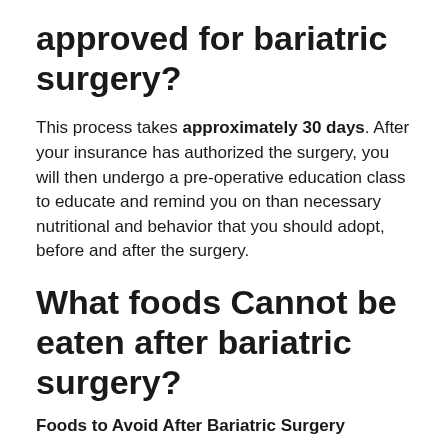approved for bariatric surgery?
This process takes approximately 30 days. After your insurance has authorized the surgery, you will then undergo a pre-operative education class to educate and remind you on than necessary nutritional and behavior that you should adopt, before and after the surgery.
What foods Cannot be eaten after bariatric surgery?
Foods to Avoid After Bariatric Surgery
Red meat that's tough or dry.